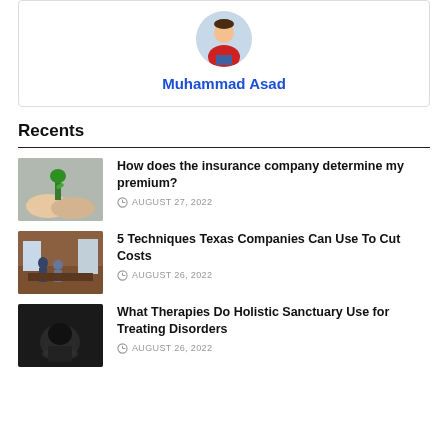Muhammad Asad
Recents
How does the insurance company determine my premium?
AUGUST 27, 2022
5 Techniques Texas Companies Can Use To Cut Costs
AUGUST 26, 2022
What Therapies Do Holistic Sanctuary Use for Treating Disorders
AUGUST 26, 2022